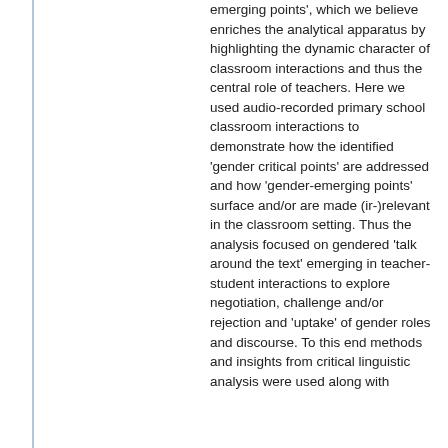emerging points', which we believe enriches the analytical apparatus by highlighting the dynamic character of classroom interactions and thus the central role of teachers. Here we used audio-recorded primary school classroom interactions to demonstrate how the identified 'gender critical points' are addressed and how 'gender-emerging points' surface and/or are made (ir-)relevant in the classroom setting. Thus the analysis focused on gendered 'talk around the text' emerging in teacher-student interactions to explore negotiation, challenge and/or rejection and 'uptake' of gender roles and discourse. To this end methods and insights from critical linguistic analysis were used along with